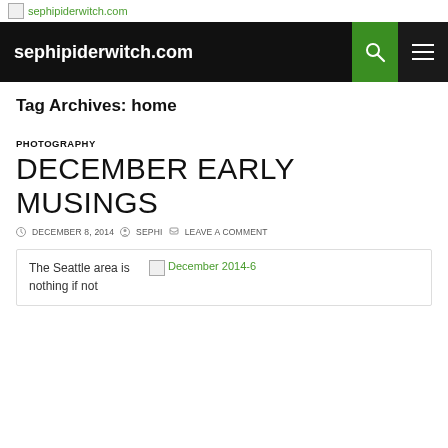sephipiderwitch.com
Tag Archives: home
PHOTOGRAPHY
DECEMBER EARLY MUSINGS
DECEMBER 8, 2014  SEPHI  LEAVE A COMMENT
The Seattle area is nothing if not
[Figure (photo): December 2014-6 image placeholder]